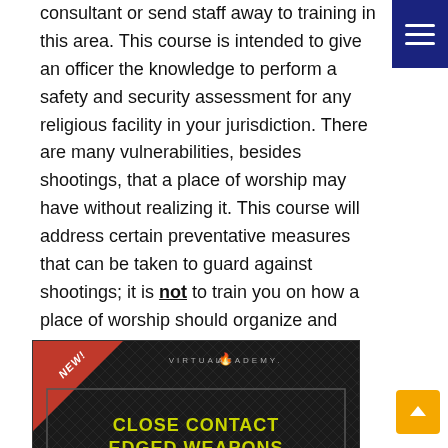consultant or send staff away to training in this area. This course is intended to give an officer the knowledge to perform a safety and security assessment for any religious facility in your jurisdiction. There are many vulnerabilities, besides shootings, that a place of worship may have without realizing it. This course will address certain preventative measures that can be taken to guard against shootings; it is not to train you on how a place of worship should organize and distribute an armed security team.
[Figure (illustration): Advertisement banner for Virtual Academy course: 'Close Contact Edged Weapons Defense'. Black background with dark diamond texture, red corner ribbon with 'NEW!' text, Virtual Academy logo at top, yellow-green text for course title, and a yellow-green bottom stripe.]